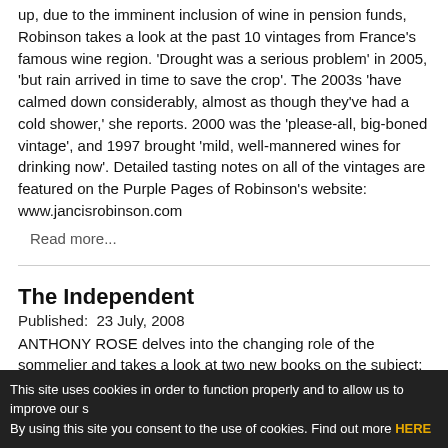up, due to the imminent inclusion of wine in pension funds, Robinson takes a look at the past 10 vintages from France's famous wine region. 'Drought was a serious problem' in 2005, 'but rain arrived in time to save the crop'. The 2003s 'have calmed down considerably, almost as though they've had a cold shower,' she reports. 2000 was the 'please-all, big-boned vintage', and 1997 brought 'mild, well-mannered wines for drinking now'. Detailed tasting notes on all of the vintages are featured on the Purple Pages of Robinson's website: www.jancisrobinson.com
Read more...
The Independent
Published:  23 July, 2008
ANTHONY ROSE delves into the changing role of the sommelier and takes a look at two new books on the subject: Thirsty Work by Matt Skinner (17.99: Mitchell Beazley) and
This site uses cookies in order to function properly and to allow us to improve our s By using this site you consent to the use of cookies. Find out more HERE